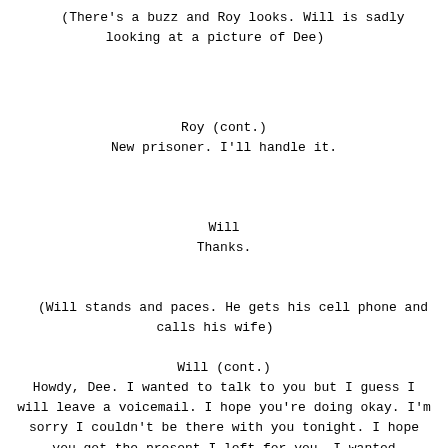(There's a buzz and Roy looks. Will is sadly looking at a picture of Dee)
Roy (cont.)
New prisoner. I'll handle it.
Will
Thanks.
(Will stands and paces. He gets his cell phone and calls his wife)
Will (cont.)
Howdy, Dee. I wanted to talk to you but I guess I will leave a voicemail. I hope you're doing okay. I'm sorry I couldn't be there with you tonight. I hope you got the present I left for you. I wanted